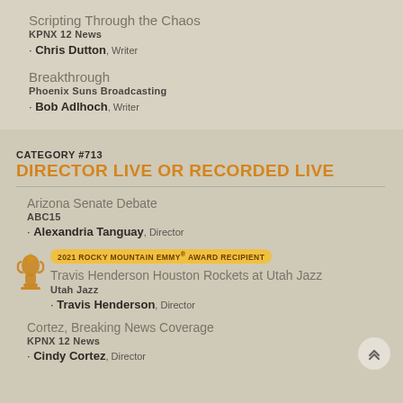Scripting Through the Chaos
KPNX 12 News
Chris Dutton, Writer
Breakthrough
Phoenix Suns Broadcasting
Bob Adlhoch, Writer
CATEGORY #713
DIRECTOR LIVE OR RECORDED LIVE
Arizona Senate Debate
ABC15
Alexandria Tanguay, Director
2021 ROCKY MOUNTAIN EMMY® AWARD RECIPIENT
Travis Henderson Houston Rockets at Utah Jazz
Utah Jazz
Travis Henderson, Director
Cortez, Breaking News Coverage
KPNX 12 News
Cindy Cortez, Director